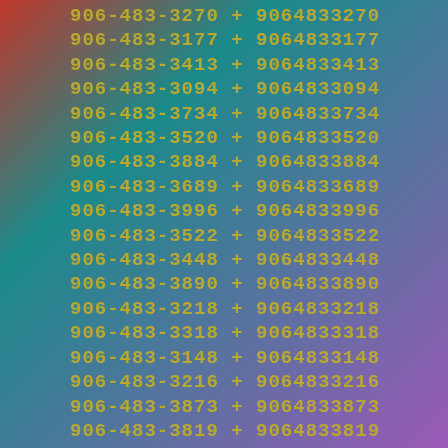906-483-3270 + 9064833270
906-483-3177 + 9064833177
906-483-3413 + 9064833413
906-483-3094 + 9064833094
906-483-3734 + 9064833734
906-483-3520 + 9064833520
906-483-3884 + 9064833884
906-483-3689 + 9064833689
906-483-3996 + 9064833996
906-483-3522 + 9064833522
906-483-3448 + 9064833448
906-483-3890 + 9064833890
906-483-3218 + 9064833218
906-483-3318 + 9064833318
906-483-3148 + 9064833148
906-483-3216 + 9064833216
906-483-3873 + 9064833873
906-483-3819 + 9064833819
906-483-3131 + 9064833131
906-483-3185 + 9064833185
906-483-3780 + 9064833780
906-483-3606 + 9064833606